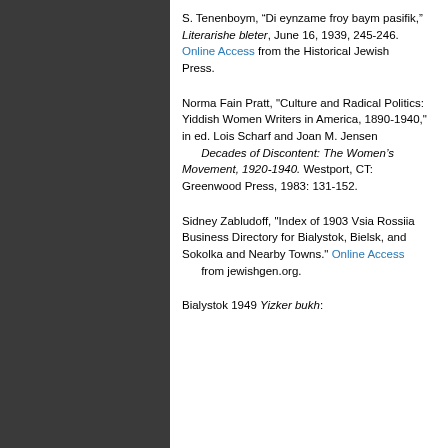S. Tenenboym, “Di eynzame froy baym pasifik,” Literarishe bleter, June 16, 1939, 245-246. Online Access from the Historical Jewish Press.
Norma Fain Pratt, "Culture and Radical Politics: Yiddish Women Writers in America, 1890-1940," in ed. Lois Scharf and Joan M. Jensen Decades of Discontent: The Women’s Movement, 1920-1940. Westport, CT: Greenwood Press, 1983: 131-152.
Sidney Zabludoff, "Index of 1903 Vsia Rossiia Business Directory for Bialystok, Bielsk, and Sokolka and Nearby Towns." Online Access from jewishgen.org.
Bialystok 1949 Yizker bukh: